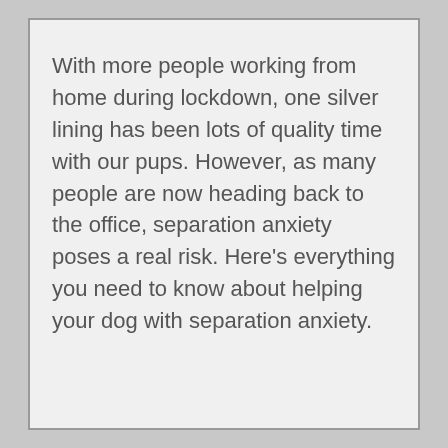With more people working from home during lockdown, one silver lining has been lots of quality time with our pups. However, as many people are now heading back to the office, separation anxiety poses a real risk. Here's everything you need to know about helping your dog with separation anxiety.